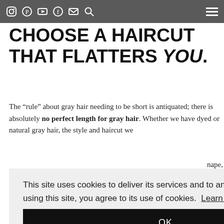Social media navigation icons and hamburger menu
CHOOSE A HAIRCUT THAT FLATTERS YOU.
The “rule” about gray hair needing to be short is antiquated; there is absolutely no perfect length for gray hair. Whether we have dyed or natural gray hair, the style and haircut we choose depends on our face shape, ... love it ... part.
This site uses cookies to deliver its services and to analyse traffic. By using this site, you agree to its use of cookies. Learn more
OK